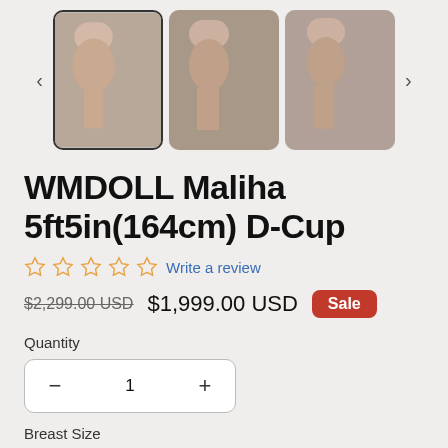[Figure (photo): Product image gallery showing three thumbnail photos of WMDOLL Maliha doll with navigation arrows. First thumbnail is selected with a border.]
WMDOLL Maliha 5ft5in(164cm) D-Cup
☆☆☆☆☆ Write a review
$2,299.00 USD  $1,999.00 USD  Sale
Quantity
− 1 +
Breast Size
Medium